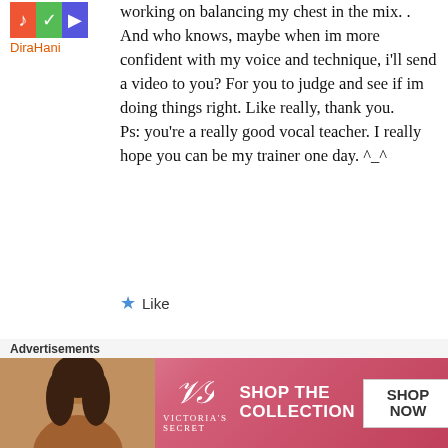[Figure (illustration): Green avatar/profile icon with colorful design]
DiraHani
working on balancing my chest in the mix. . And who knows, maybe when im more confident with my voice and technique, i'll send a video to you? For you to judge and see if im doing things right. Like really, thank you.
Ps: you're a really good vocal teacher. I really hope you can be my trainer one day. ^_^
★ Like
September 6, 2015 at 1:47 pm
Advertisements
[Figure (photo): Victoria's Secret advertisement banner with model, VS logo, and SHOP THE COLLECTION / SHOP NOW button]